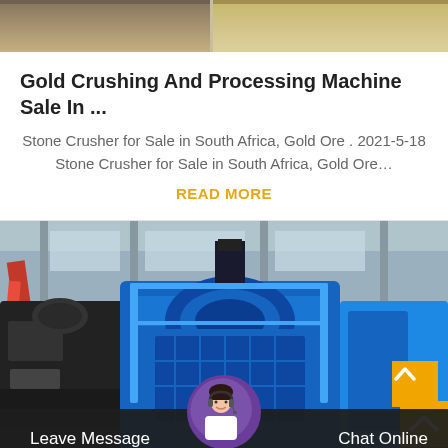[Figure (photo): Top portion of an image showing wooden or metal trays/frames, cropped at the top of the page]
Gold Crushing And Processing Machine Sale In ...
Stone Crusher for Sale in South Africa, Gold Ore . 2021-5-18 Stone Crusher for Sale in South Africa, Gold Ore…
READ MORE
[Figure (photo): Industrial stone crushing machine in a factory/warehouse setting. A large blue vertical shaft impact crusher is prominently centered, with black conveyor/crusher equipment on the left and blue auxiliary structures on the right. Red structural elements visible in the background inside a large industrial building.]
Leave Message
Chat Online